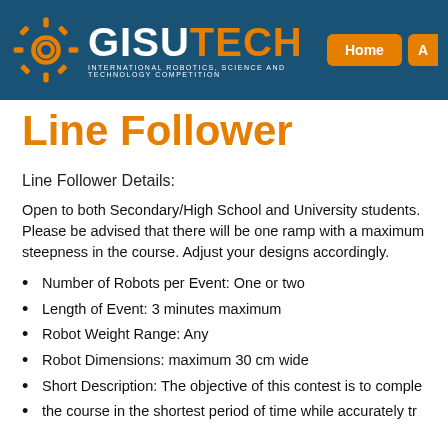[Figure (logo): GISUTECH logo with gear icon on dark blue header background. Text reads GISU in white and TECH in orange, bold. Subtitle: INTERNATIONAL ROBOTICS, SCIENCE AND TECHNOLOGY COMPETITION. Navigation buttons: Home, A (partially visible).]
Line Follower
Line Follower Details:
Open to both Secondary/High School and University students. Please be advised that there will be one ramp with a maximum steepness in the course. Adjust your designs accordingly.
Number of Robots per Event: One or two
Length of Event: 3 minutes maximum
Robot Weight Range: Any
Robot Dimensions: maximum 30 cm wide
Short Description: The objective of this contest is to comple
the course in the shortest period of time while accurately tr